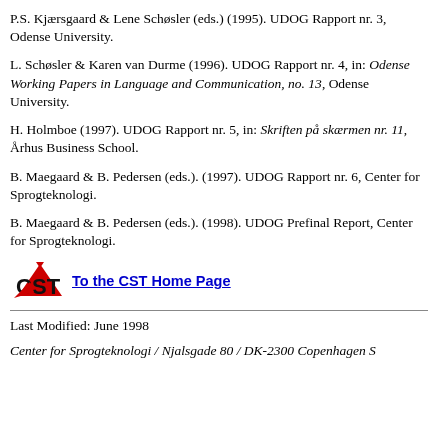P.S. Kjærsgaard & Lene Schøsler (eds.) (1995). UDOG Rapport nr. 3, Odense University.
L. Schøsler & Karen van Durme (1996). UDOG Rapport nr. 4, in: Odense Working Papers in Language and Communication, no. 13, Odense University.
H. Holmboe (1997). UDOG Rapport nr. 5, in: Skriften på skærmen nr. 11, Århus Business School.
B. Maegaard & B. Pedersen (eds.). (1997). UDOG Rapport nr. 6, Center for Sprogteknologi.
B. Maegaard & B. Pedersen (eds.). (1998). UDOG Prefinal Report, Center for Sprogteknologi.
[Figure (logo): CST logo with red and black design]
To the CST Home Page
Last Modified: June 1998
Center for Sprogteknologi / Njalsgade 80 / DK-2300 Copenhagen S